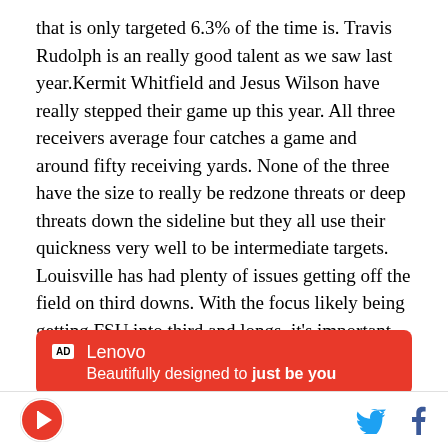that is only targeted 6.3% of the time is. Travis Rudolph is an really good talent as we saw last year.Kermit Whitfield and Jesus Wilson have really stepped their game up this year. All three receivers average four catches a game and around fifty receiving yards. None of the three have the size to really be redzone threats or deep threats down the sideline but they all use their quickness very well to be intermediate targets. Louisville has had plenty of issues getting off the field on third downs. With the focus likely being getting FSU into third and longs, it's important that these receivers are not left open to keep the chains moving.
[Figure (other): Lenovo advertisement banner with red background. AD label, Lenovo logo text, and tagline 'Beautifully designed to just be you']
SB Nation logo | Twitter bird icon | Facebook f icon